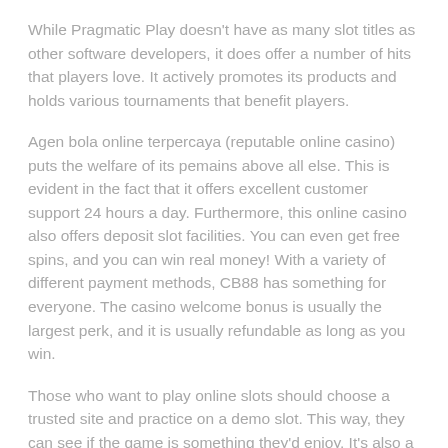While Pragmatic Play doesn't have as many slot titles as other software developers, it does offer a number of hits that players love. It actively promotes its products and holds various tournaments that benefit players.
Agen bola online terpercaya (reputable online casino) puts the welfare of its pemains above all else. This is evident in the fact that it offers excellent customer support 24 hours a day. Furthermore, this online casino also offers deposit slot facilities. You can even get free spins, and you can win real money! With a variety of different payment methods, CB88 has something for everyone. The casino welcome bonus is usually the largest perk, and it is usually refundable as long as you win.
Those who want to play online slots should choose a trusted site and practice on a demo slot. This way, they can see if the game is something they'd enjoy. It's also a good idea to play for fun before committing real money to the slot machine. The jackpot of Pragmatic Play's free-spin feature is huge, and it's easy to win big! Just choose a reputable online casino to play with!
The provider of pragmatic play is known for its high-quality slot